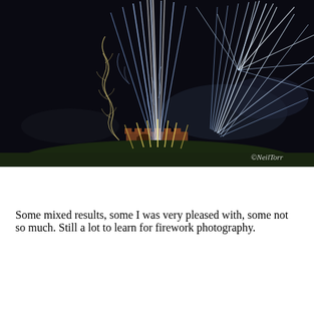[Figure (photo): Night photograph of fireworks exploding over a historic stone tower/castle. Bright white and blue streaks of fireworks radiate upward against a dark sky with wispy clouds. A spiral/corkscrew firework trail is visible on the left. The warm-lit stone castle/gatehouse is silhouetted at the bottom center. Watermark reads ©NeilTorr in the lower right corner.]
Some mixed results, some I was very pleased with, some not so much. Still a lot to learn for firework photography.